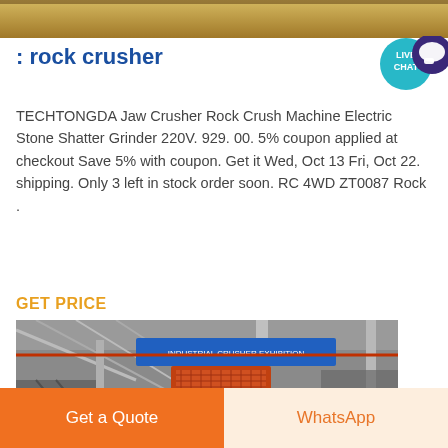[Figure (photo): Top partial image showing yellow/gold tones, cropped at top of page]
: rock crusher
[Figure (logo): Live Chat circular badge in teal/dark blue colors]
TECHTONGDA Jaw Crusher Rock Crush Machine Electric Stone Shatter Grinder 220V. 929. 00. 5% coupon applied at checkout Save 5% with coupon. Get it Wed, Oct 13 Fri, Oct 22. shipping. Only 3 left in stock order soon. RC 4WD ZT0087 Rock .
GET PRICE
[Figure (photo): Industrial rock crusher machinery inside a large warehouse/factory facility with steel frame structure and orange/red vibrating screen equipment]
Get a Quote
WhatsApp